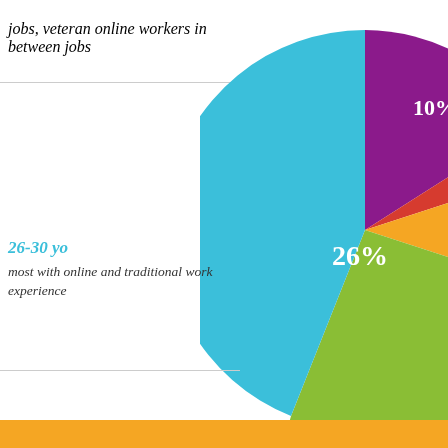jobs, veteran online workers in between jobs
[Figure (pie-chart): Age distribution of online workers]
26-30 yo
most with online and traditional work experience